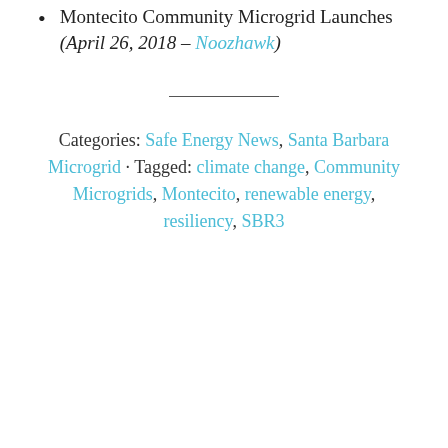Montecito Community Microgrid Launches (April 26, 2018 – Noozhawk)
Categories: Safe Energy News, Santa Barbara Microgrid · Tagged: climate change, Community Microgrids, Montecito, renewable energy, resiliency, SBR3